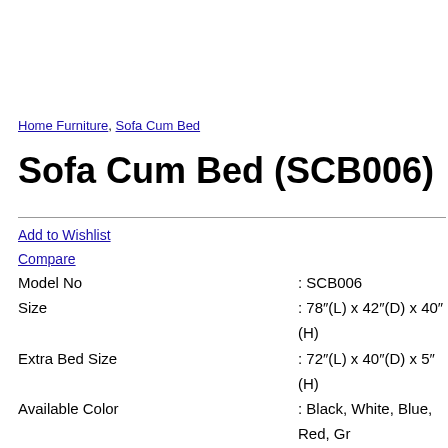Home Furniture, Sofa Cum Bed
Sofa Cum Bed (SCB006)
Add to Wishlist
Compare
| Field | Value |
| --- | --- |
| Model No | : SCB006 |
| Size | : 78″(L) x 42″(D) x 40″(H) |
| Extra Bed Size | : 72″(L) x 40″(D) x 5″(H) |
| Available Color | : Black, White, Blue, Red, Gr… |
| Paint Type | : Powder Coated |
| Delivery Time | : 10 Days |
| Delivery | : Free Inside Dhaka City |
| Mattress | : Mattress 4″ |